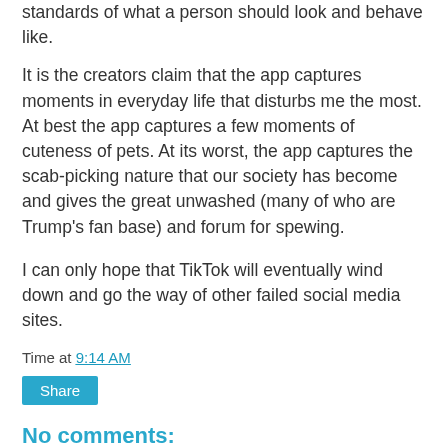standards of what a person should look and behave like.
It is the creators claim that the app captures moments in everyday life that disturbs me the most. At best the app captures a few moments of cuteness of pets. At its worst, the app captures the scab-picking nature that our society has become and gives the great unwashed (many of who are Trump's fan base) and forum for spewing.
I can only hope that TikTok will eventually wind down and go the way of other failed social media sites.
Time at 9:14 AM
Share
No comments:
Post a Comment
I moderate all comments. So please, no haters, spammers, or stalkers.